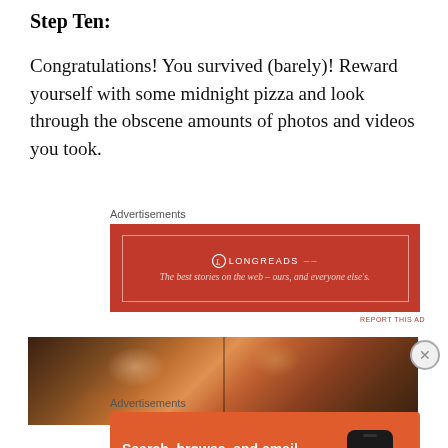Step Ten:
Congratulations! You survived (barely)! Reward yourself with some midnight pizza and look through the obscene amounts of photos and videos you took.
Advertisements
[Figure (other): Longreads advertisement banner with red background. Text: LONGREADS — The best stories on the web – ours, and everyone else's.]
REPORT THIS AD
[Figure (photo): Photo of pizza slices in a dark pan, showing melted cheese and toppings, partially cropped.]
Advertisements
[Figure (other): DuckDuckGo advertisement. Text: Search, browse, and email with more privacy. All in One Free App. DuckDuckGo logo on a phone mockup.]